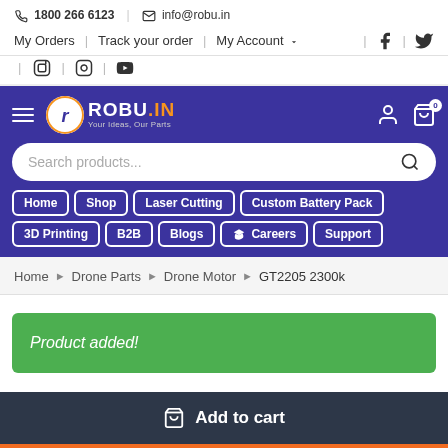📞 1800 266 6123  |  ✉ info@robu.in
My Orders  |  Track your order  |  My Account  🔽
[Figure (logo): ROBU.IN logo with orange R in white circle, text ROBU.IN in white/orange, tagline Your Ideas, Our Parts]
Search products...
Home
Shop
Laser Cutting
Custom Battery Pack
3D Printing
B2B
Blogs
🎓 Careers
Support
Home > Drone Parts > Drone Motor > GT2205 2300k
Product added!
🛒 Add to cart